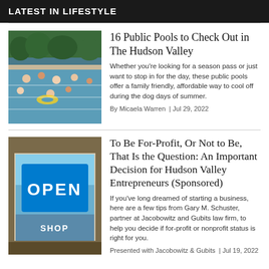LATEST IN LIFESTYLE
[Figure (photo): Outdoor public swimming pool crowded with people on a summer day]
16 Public Pools to Check Out in The Hudson Valley
Whether you're looking for a season pass or just want to stop in for the day, these public pools offer a family friendly, affordable way to cool off during the dog days of summer.
By Micaela Warren  | Jul 29, 2022
[Figure (photo): An OPEN SHOP sign hanging in a store window]
To Be For-Profit, Or Not to Be, That Is the Question: An Important Decision for Hudson Valley Entrepreneurs (Sponsored)
If you've long dreamed of starting a business, here are a few tips from Gary M. Schuster, partner at Jacobowitz and Gubits law firm, to help you decide if for-profit or nonprofit status is right for you.
Presented with Jacobowitz & Gubits  | Jul 19, 2022